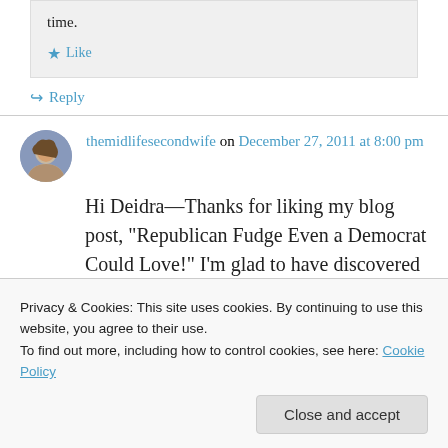time.
★ Like
↪ Reply
themidlifesecondwife on December 27, 2011 at 8:00 pm
Hi Deidra—Thanks for liking my blog post, "Republican Fudge Even a Democrat Could Love!" I'm glad to have discovered your
Privacy & Cookies: This site uses cookies. By continuing to use this website, you agree to their use.
To find out more, including how to control cookies, see here: Cookie Policy
Close and accept